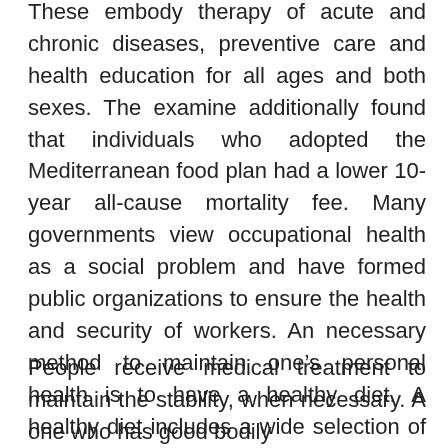These embody therapy of acute and chronic diseases, preventive care and health education for all ages and both sexes. The examine additionally found that individuals who adopted the Mediterranean food plan had a lower 10-year all-cause mortality fee. Many governments view occupational health as a social problem and have formed public organizations to ensure the health and security of workers. An necessary method to maintain one's personal health is to have a healthy diet. A healthy diet includes a wide selection of plant-based and animal-based meals that provide vitamins to the body.
People receive medical treatment to maintain the stability, when necessary. A one who has good bodily